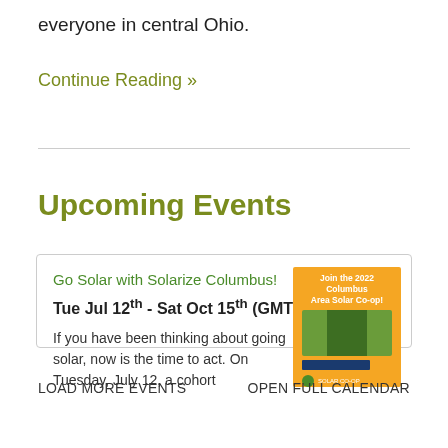everyone in central Ohio.
Continue Reading »
Upcoming Events
Go Solar with Solarize Columbus!
Tue Jul 12th - Sat Oct 15th (GMT)
If you have been thinking about going solar, now is the time to act. On Tuesday, July 12, a cohort
[Figure (illustration): Orange promotional flyer for Join the 2022 Columbus Area Solar Co-op with a person installing solar panels on a roof]
LOAD MORE EVENTS
OPEN FULL CALENDAR